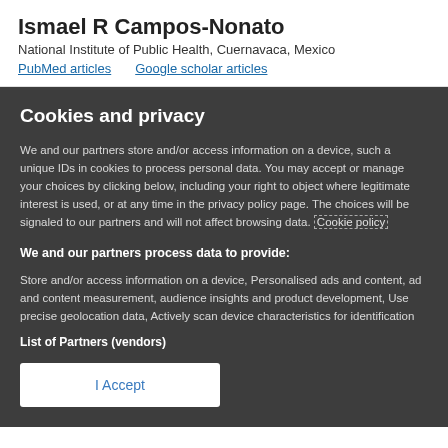Ismael R Campos-Nonato
National Institute of Public Health, Cuernavaca, Mexico
PubMed articles    Google scholar articles
Cookies and privacy
We and our partners store and/or access information on a device, such a unique IDs in cookies to process personal data. You may accept or manage your choices by clicking below, including your right to object where legitimate interest is used, or at any time in the privacy policy page. These choices will be signaled to our partners and will not affect browsing data. Cookie policy
We and our partners process data to provide:
Store and/or access information on a device, Personalised ads and content, ad and content measurement, audience insights and product development, Use precise geolocation data, Actively scan device characteristics for identification
List of Partners (vendors)
I Accept